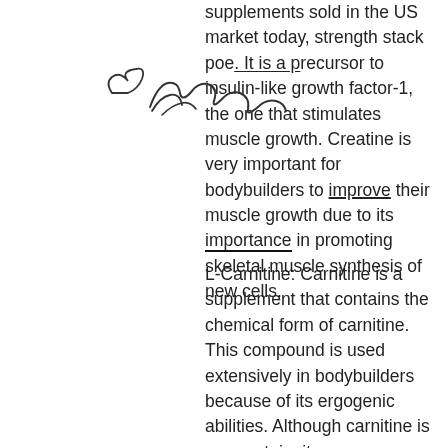supplements sold in the US market today, strength stack poe. It is a precursor to insulin-like growth factor-1, the one that stimulates muscle growth. Creatine is very important for bodybuilders to improve their muscle growth due to its importance in promoting skeletal muscle synthesis of new cells.
[Figure (other): Handwritten cursive annotation overlaid on the text, with a small heart/loop symbol to the left]
L-Carnitine: Carnitine is a supplement that contains the chemical form of carnitine. This compound is used extensively in bodybuilders because of its ergogenic abilities. Although carnitine is one protein, it occurs naturally in many plants and animals, what is the best sarms for bulking. The amino acid lysine is converted to l-carnitine and then to carnitine in the body. L-carnitine can be used as a supplement for both strength and hypertrophy for many reasons, what is the best sarms for bulking. It has